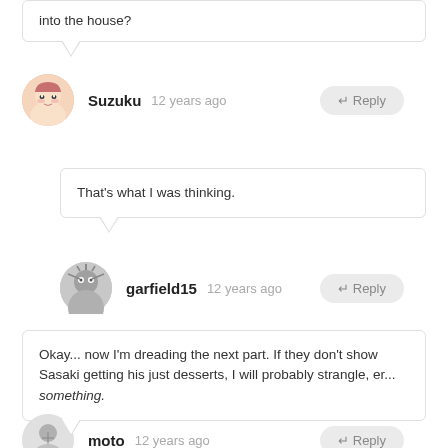into the house?
Suzuku  12 years ago
That's what I was thinking.
garfield15  12 years ago
Okay... now I'm dreading the next part. If they don't show Sasaki getting his just desserts, I will probably strangle, er... something.
moto  12 years ago